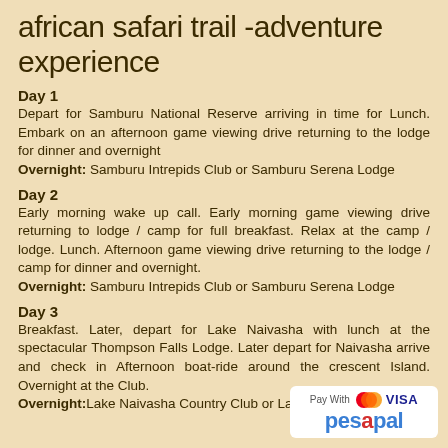african safari trail -adventure experience
Day 1
Depart for Samburu National Reserve arriving in time for Lunch. Embark on an afternoon game viewing drive returning to the lodge for dinner and overnight
Overnight: Samburu Intrepids Club or Samburu Serena Lodge
Day 2
Early morning wake up call. Early morning game viewing drive returning to lodge / camp for full breakfast. Relax at the camp / lodge. Lunch. Afternoon game viewing drive returning to the lodge / camp for dinner and overnight.
Overnight: Samburu Intrepids Club or Samburu Serena Lodge
Day 3
Breakfast. Later, depart for Lake Naivasha with lunch at the spectacular Thompson Falls Lodge. Later depart for Naivasha arrive and check in Afternoon boat-ride around the crescent Island. Overnight at the Club.
Overnight: Lake Naivasha Country Club or La
[Figure (logo): Pesapal payment logo with Mastercard and Visa icons]